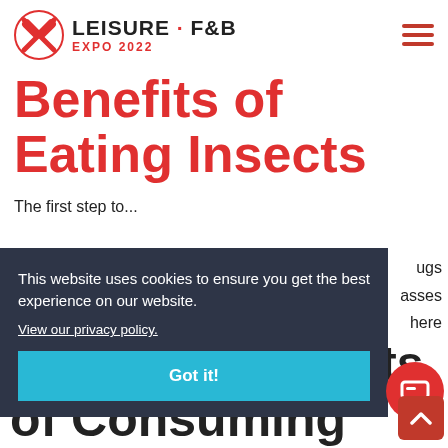LEISURE · F&B EXPO 2022
Benefits of Eating Insects
The first step to...
This website uses cookies to ensure you get the best experience on our website.
View our privacy policy.
Got it!
Nutritional Benefits of Consuming